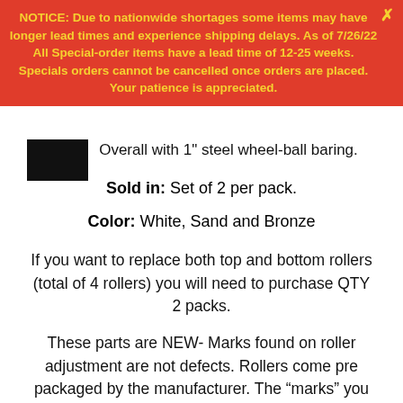NOTICE: Due to nationwide shortages some items may have longer lead times and experience shipping delays. As of 7/26/22 All Special-order items have a lead time of 12-25 weeks. Specials orders cannot be cancelled once orders are placed. Your patience is appreciated.
Overall with 1" steel wheel-ball baring.
Sold in: Set of 2 per pack.
Color: White, Sand and Bronze
If you want to replace both top and bottom rollers (total of 4 rollers) you will need to purchase QTY 2 packs.
These parts are NEW- Marks found on roller adjustment are not defects. Rollers come pre packaged by the manufacturer. The “marks” you see on the sand and white adjustment are from the molds they use to make the parts and put them together.
This parts were used on Hurd doors prior to 2006.